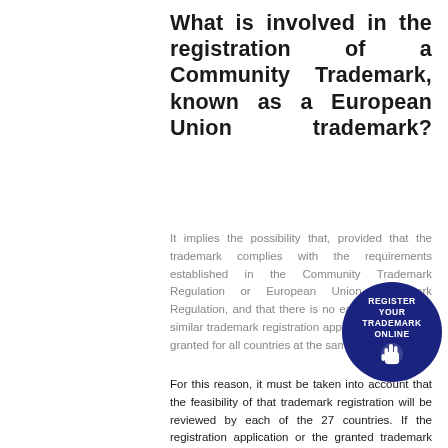What is involved in the registration of a Community Trademark, known as a European Union trademark?
It implies the possibility that, provided that the trademark complies with the requirements established in the Community Trademark Regulation or European Union Trademark Regulation, and that there is no earlier identical or similar trademark registration application, it may be granted for all countries at the same time.
[Figure (illustration): Dark blue circular badge with white text: REGISTER YOUR TRADEMARK ONLINE, with a hand/click icon at the bottom]
For this reason, it must be taken into account that the feasibility of that trademark registration will be reviewed by each of the 27 countries. If the registration application or the granted trademark conflicts with matters